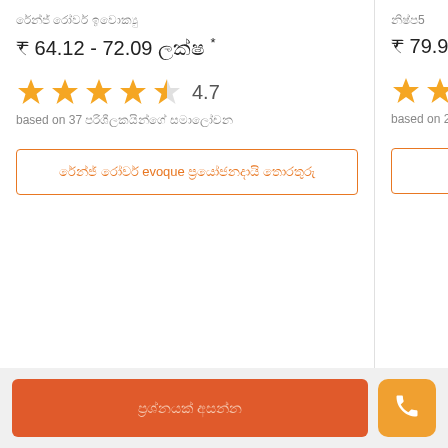රේන්ජ් රෝවර් ඉවොක්‍යු
₹ 64.12 - 72.09 ලක්ෂ *
[Figure (other): 4.7 star rating with 4 orange filled stars and 1 half star]
based on 37 පරිශීලකයින්ගේ සමාලෝචන
රේන්ජ් රෝවර් evoque ප්‍රයෝජනදායි තොරතුරු
නිෂ්ප5
₹ 79.90 - 95.90 ලක්
[Figure (other): Star rating with 4 orange stars and partial 5th star]
based on 28 පරිශීල
නිෂ්ප5 තොර
ප්‍රශ්නයක් අසන්න
[Figure (other): Phone call icon button]